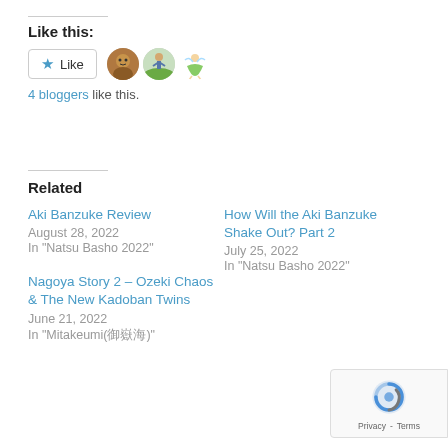Like this:
[Figure (other): Like button with star icon and three avatar thumbnails]
4 bloggers like this.
Related
Aki Banzuke Review
August 28, 2022
In "Natsu Basho 2022"
How Will the Aki Banzuke Shake Out? Part 2
July 25, 2022
In "Natsu Basho 2022"
Nagoya Story 2 – Ozeki Chaos & The New Kadoban Twins
June 21, 2022
In "Mitakeumi(御嶽海)"
[Figure (logo): reCAPTCHA badge with Privacy and Terms links]